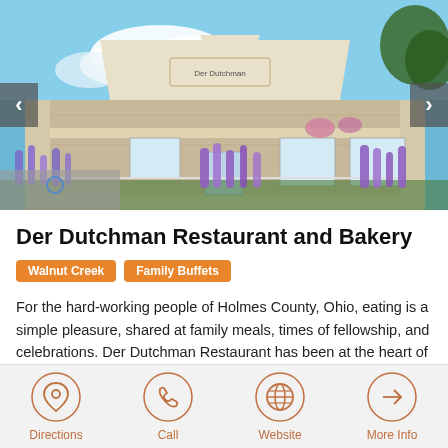[Figure (photo): Exterior photo of Der Dutchman Restaurant and Bakery building with blue sky, clouds, and purple flowers in foreground. Navigation arrows on left and right sides.]
Der Dutchman Restaurant and Bakery
Walnut Creek   Family Buffets
For the hard-working people of Holmes County, Ohio, eating is a simple pleasure, shared at family meals, times of fellowship, and celebrations. Der Dutchman Restaurant has been at the heart of this...
Directions   Call   Website   More Info